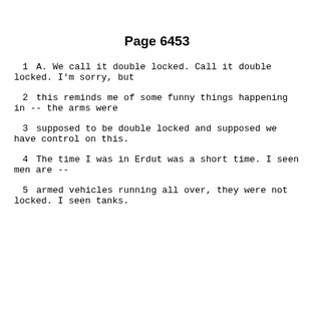Page 6453
1        A.    We call it double locked.  Call it double locked.  I'm sorry, but
2      this reminds me of some funny things happening in -- the arms were
3      supposed to be double locked and supposed we have control on this.
4             The time I was in Erdut was a short time.  I seen men are --
5      armed vehicles running all over, they were not locked.  I seen tanks.